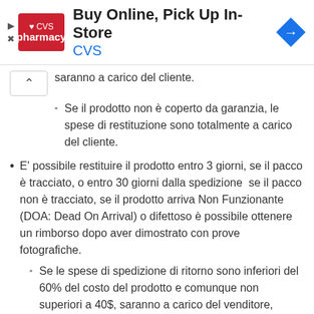[Figure (other): CVS Pharmacy advertisement banner: Buy Online, Pick Up In-Store]
saranno a carico del cliente.
Se il prodotto non è coperto da garanzia, le spese di restituzione sono totalmente a carico del cliente.
E' possibile restituire il prodotto entro 3 giorni, se il pacco è tracciato, o entro 30 giorni dalla spedizione  se il pacco non è tracciato, se il prodotto arriva Non Funzionante (DOA: Dead On Arrival) o difettoso è possibile ottenere un rimborso dopo aver dimostrato con prove fotografiche.
Se le spese di spedizione di ritorno sono inferiori del 60% del costo del prodotto e comunque non superiori a 40$, saranno a carico del venditore,